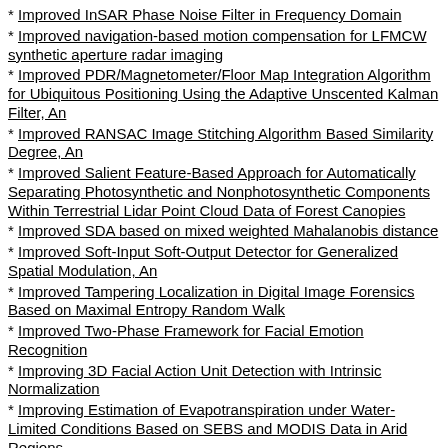Improved InSAR Phase Noise Filter in Frequency Domain
Improved navigation-based motion compensation for LFMCW synthetic aperture radar imaging
Improved PDR/Magnetometer/Floor Map Integration Algorithm for Ubiquitous Positioning Using the Adaptive Unscented Kalman Filter, An
Improved RANSAC Image Stitching Algorithm Based Similarity Degree, An
Improved Salient Feature-Based Approach for Automatically Separating Photosynthetic and Nonphotosynthetic Components Within Terrestrial Lidar Point Cloud Data of Forest Canopies
Improved SDA based on mixed weighted Mahalanobis distance
Improved Soft-Input Soft-Output Detector for Generalized Spatial Modulation, An
Improved Tampering Localization in Digital Image Forensics Based on Maximal Entropy Random Walk
Improved Two-Phase Framework for Facial Emotion Recognition
Improving 3D Facial Action Unit Detection with Intrinsic Normalization
Improving Estimation of Evapotranspiration under Water-Limited Conditions Based on SEBS and MODIS Data in Arid Regions